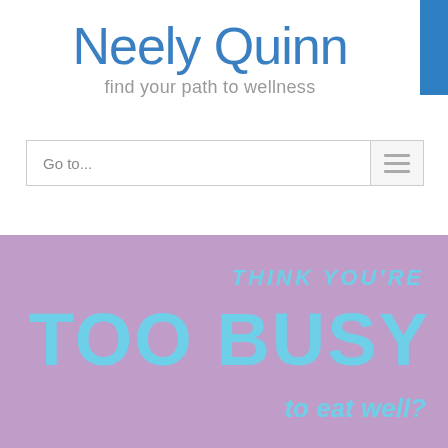Neely Quinn
find your path to wellness
Go to...
[Figure (screenshot): Website banner with purple background showing text: THINK YOU'RE TOO BUSY to eat well?]